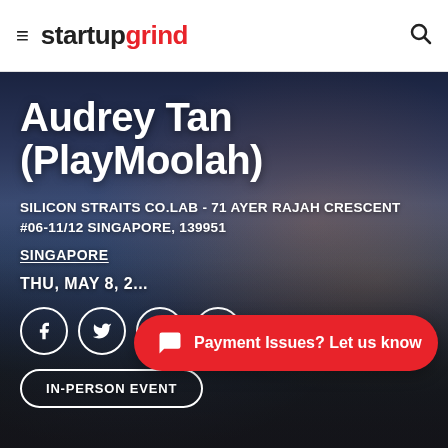startup grind
Audrey Tan (PlayMoolah)
SILICON STRAITS CO.LAB - 71 AYER RAJAH CRESCENT #06-11/12 SINGAPORE, 139951
SINGAPORE
THU, MAY 8, 2...
[Figure (screenshot): Social share icons: Facebook, Twitter, LinkedIn, Email]
IN-PERSON EVENT
Payment Issues? Let us know